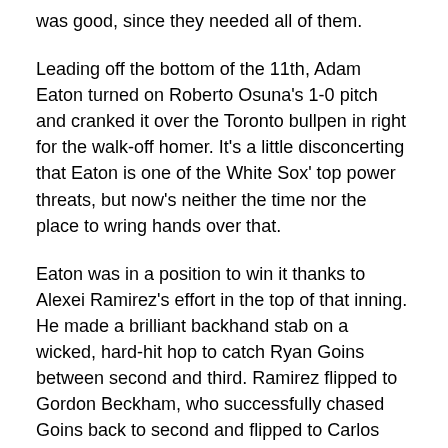was good, since they needed all of them.
Leading off the bottom of the 11th, Adam Eaton turned on Roberto Osuna's 1-0 pitch and cranked it over the Toronto bullpen in right for the walk-off homer. It's a little disconcerting that Eaton is one of the White Sox' top power threats, but now's neither the time nor the place to wring hands over that.
Eaton was in a position to win it thanks to Alexei Ramirez's effort in the top of that inning. He made a brilliant backhand stab on a wicked, hard-hit hop to catch Ryan Goins between second and third. Ramirez flipped to Gordon Beckham, who successfully chased Goins back to second and flipped to Carlos Sanchez for the tag. Second base umpire Sam Holbrook thought Sanchez whiffed on the tag, but Robin Ventura came